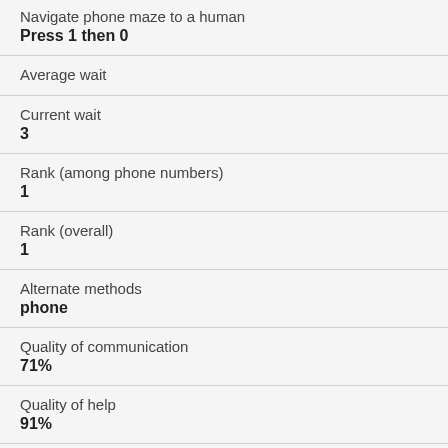Navigate phone maze to a human
Press 1 then 0
Average wait
Current wait
3
Rank (among phone numbers)
1
Rank (overall)
1
Alternate methods
phone
Quality of communication
71%
Quality of help
91%
Customer votes
613